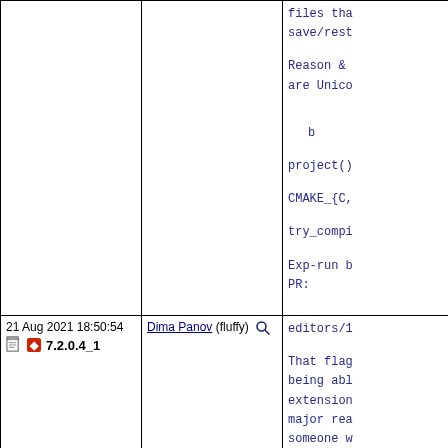| Date/Version | Author | Description |
| --- | --- | --- |
|  |  | files tha save/rest
Reason & are Unico

b

project()

CMAKE_{C,

try_compi

Exp-run b PR: |
| 21 Aug 2021 18:50:54
7.2.0.4_1 | Dima Panov (fluffy) [search] | editors/1

That flag being abl extension major rea someone w

Bump PORT defaults |
| 19 Aug 2021 16:29:15 | Dima Panov (fluffy) [search] | editors/1 |